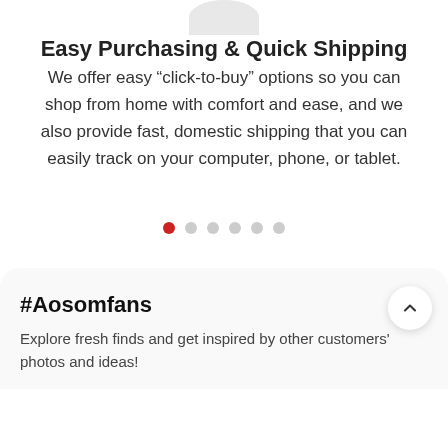[Figure (illustration): Partial circle/icon at top of page, light gray semicircle]
Easy Purchasing & Quick Shipping
We offer easy “click-to-buy” options so you can shop from home with comfort and ease, and we also provide fast, domestic shipping that you can easily track on your computer, phone, or tablet.
[Figure (other): Carousel pagination dots: one red active dot followed by five gray dots]
#Aosomfans
Explore fresh finds and get inspired by other customers' photos and ideas!